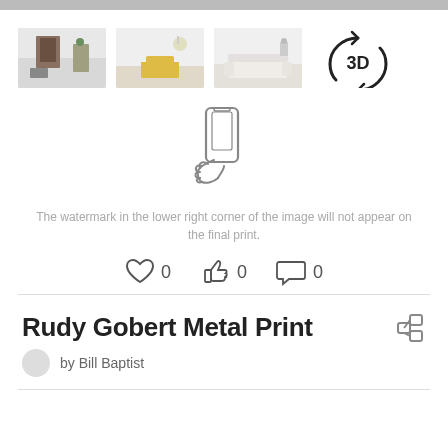[Figure (screenshot): Top gray scrollbar/header bar]
[Figure (photo): Three room scene thumbnail photos showing artwork on walls, and a 3D rotate icon]
[Figure (illustration): Hand holding a smartphone icon (outline/line art)]
The watermark in the lower right corner of the image will not appear on the final print.
[Figure (infographic): Social interaction icons: heart (0), thumbs up (0), comment bubble (0)]
Rudy Gobert Metal Print
by Bill Baptist